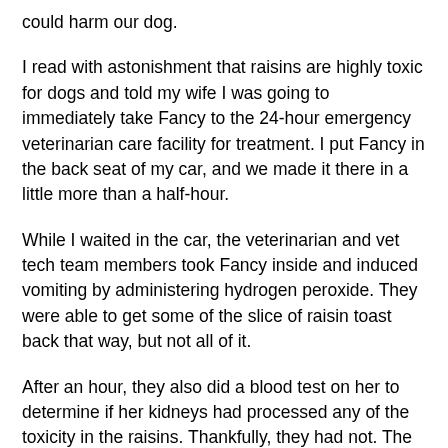could harm our dog.
I read with astonishment that raisins are highly toxic for dogs and told my wife I was going to immediately take Fancy to the 24-hour emergency veterinarian care facility for treatment. I put Fancy in the back seat of my car, and we made it there in a little more than a half-hour.
While I waited in the car, the veterinarian and vet tech team members took Fancy inside and induced vomiting by administering hydrogen peroxide. They were able to get some of the slice of raisin toast back that way, but not all of it.
After an hour, they also did a blood test on her to determine if her kidneys had processed any of the toxicity in the raisins. Thankfully, they had not. The veterinarian released Fancy back into my care and recommended another blood test the following day to ensure that no toxins remained in her system from consuming the raisin toast.
He told me that although raisins can be deadly for dogs, it is